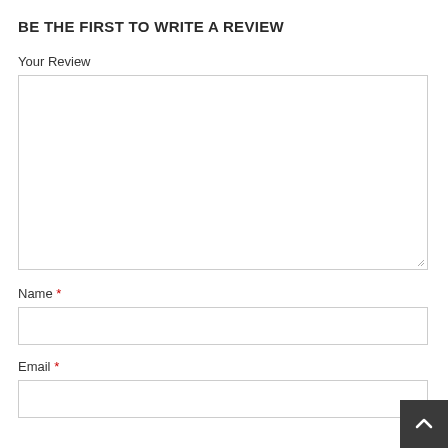BE THE FIRST TO WRITE A REVIEW
Your Review
Name *
Email *